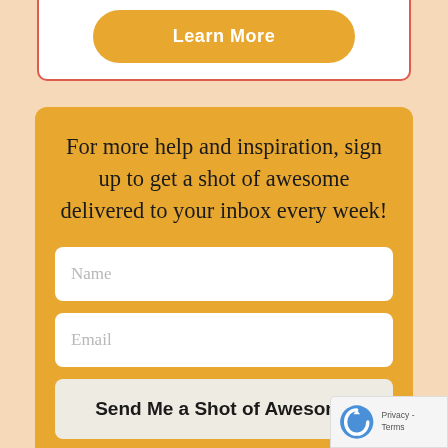[Figure (other): A white card with red border containing a 'Learn More' button with orange rounded rectangle styling]
For more help and inspiration, sign up to get a shot of awesome delivered to your inbox every week!
[Figure (other): Name input field placeholder]
[Figure (other): Email input field placeholder]
[Figure (other): Send Me a Shot of Awesome submit button]
[Figure (other): reCAPTCHA badge with logo and Privacy - Terms text]